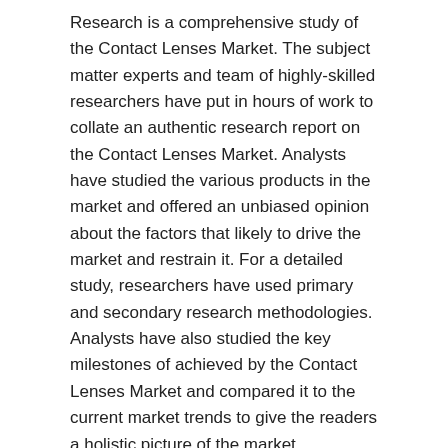Research is a comprehensive study of the Contact Lenses Market. The subject matter experts and team of highly-skilled researchers have put in hours of work to collate an authentic research report on the Contact Lenses Market. Analysts have studied the various products in the market and offered an unbiased opinion about the factors that likely to drive the market and restrain it. For a detailed study, researchers have used primary and secondary research methodologies. Analysts have also studied the key milestones of achieved by the Contact Lenses Market and compared it to the current market trends to give the readers a holistic picture of the market.
Get | Download Sample Copy @ https://www.verifiedmarketresearch.com/download-sample/?rid=31715&utm_source=XHE&utm_medium=003